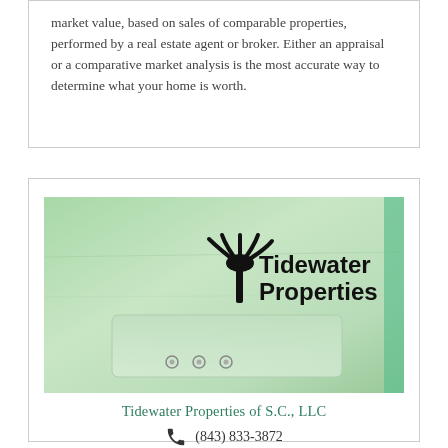market value, based on sales of comparable properties, performed by a real estate agent or broker. Either an appraisal or a comparative market analysis is the most accurate way to determine what your home is worth.
[Figure (photo): Photo of a light green fabric bag/tote with the Tidewater Properties logo printed on it — a palmetto tree with a crescent moon and the text 'Tidewater Properties']
Tidewater Properties of S.C., LLC
(843) 833-3872